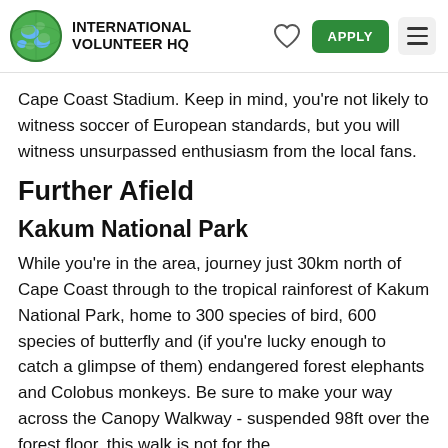INTERNATIONAL VOLUNTEER HQ
Cape Coast Stadium. Keep in mind, you're not likely to witness soccer of European standards, but you will witness unsurpassed enthusiasm from the local fans.
Further Afield
Kakum National Park
While you're in the area, journey just 30km north of Cape Coast through to the tropical rainforest of Kakum National Park, home to 300 species of bird, 600 species of butterfly and (if you're lucky enough to catch a glimpse of them) endangered forest elephants and Colobus monkeys. Be sure to make your way across the Canopy Walkway - suspended 98ft over the forest floor, this walk is not for the